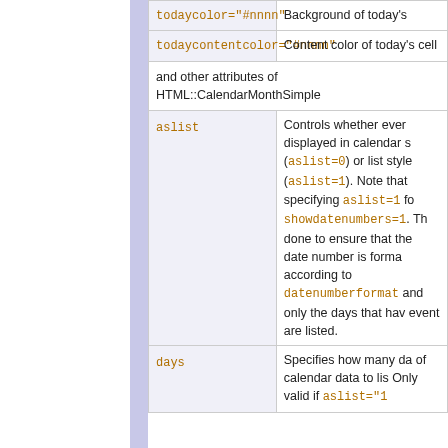| Attribute | Description |
| --- | --- |
| todaycolor="#nnnn" | Background of today's cells |
| todaycontentcolor="#nnnn" | Content color of today's cell |
| and other attributes of HTML::CalendarMonthSimple |  |
| aslist | Controls whether events are displayed in calendar style (aslist=0) or list style (aslist=1). Note that specifying aslist=1 forces showdatenumbers=1. This is done to ensure that the date number is formatted according to datenumberformat and only the days that have an event are listed. |
| days | Specifies how many days of calendar data to list. Only valid if aslist="1 |